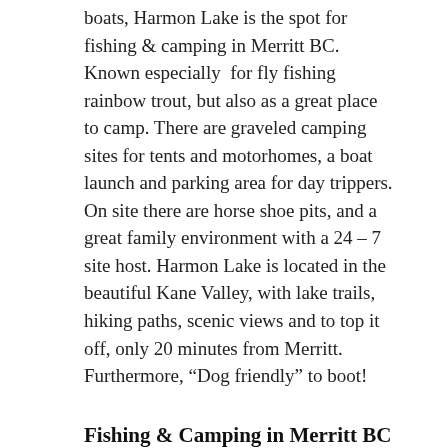boats, Harmon Lake is the spot for fishing & camping in Merritt BC. Known especially for fly fishing rainbow trout, but also as a great place to camp. There are graveled camping sites for tents and motorhomes, a boat launch and parking area for day trippers. On site there are horse shoe pits, and a great family environment with a 24 – 7 site host. Harmon Lake is located in the beautiful Kane Valley, with lake trails, hiking paths, scenic views and to top it off, only 20 minutes from Merritt. Furthermore, “Dog friendly” to boot!
Fishing & Camping in Merritt BC at Lundbom Lake
Truly this recreational spot is ideal for camping, fishing, horseback riding, ATV/dirt biking, along with swimming. Located only minutes from